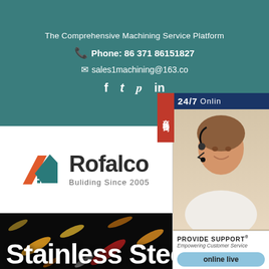The Comprehensive Machining Service Platform
Phone: 86 371 86151827
sales1machining@163.co
Social icons: f  (twitter)  p  in
[Figure (logo): Rofalco logo with orange/teal geometric house icon and text 'Rofalco', tagline 'Buliding Since 2005']
[Figure (photo): Dark bokeh background with colorful blurred light streaks suggesting industrial stainless steel]
Stainless Steel
[Figure (infographic): Customer support sidebar widget showing woman with headset, '24/7 Online' text, 'PROVIDE SUPPORT Empowering Customer Service' label, and 'online live' button. Chinese tab '在线咨询' on left side.]